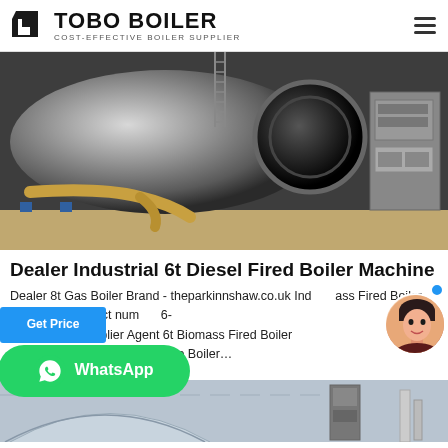TOBO BOILER — COST-EFFECTIVE BOILER SUPPLIER
[Figure (photo): Industrial diesel fired boiler inside a factory/warehouse setting, showing a large cylindrical boiler with yellow piping and a control cabinet to the right]
Dealer Industrial 6t Diesel Fired Boiler Machine
Dealer 8t Gas Boiler Brand - theparkinnshaw.co.uk Industrial ass Fired Boiler Tajikistan. Contact number 6- Clean boiler supplier Agent 6t Biomass Fired Boiler 1t Diesel Atmospheric Pressure Boiler...
[Figure (photo): Bottom portion of another industrial boiler or warehouse ceiling structure with arched elements and equipment visible]